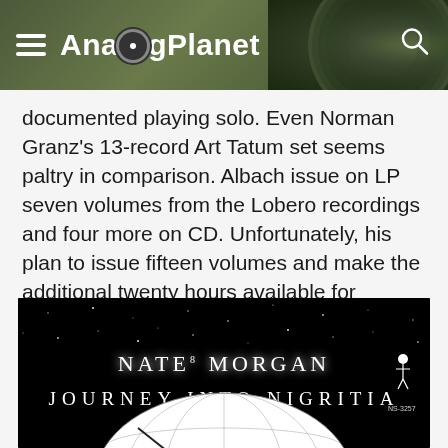AnalogPlanet
documented playing solo. Even Norman Granz's 13-record Art Tatum set seems paltry in comparison. Albach issue on LP seven volumes from the Lobero recordings and four more on CD. Unfortunately, his plan to issue fifteen volumes and make the additional twenty hours available for download never came to fruition.
[Figure (photo): Black and white album cover for Nate Morgan 'Journey Into Nigritia' showing space/stars background with stylized text and a globe illustration at the bottom]